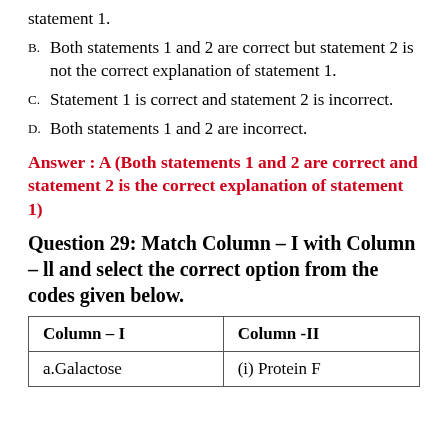statement 1.
B. Both statements 1 and 2 are correct but statement 2 is not the correct explanation of statement 1.
C. Statement 1 is correct and statement 2 is incorrect.
D. Both statements 1 and 2 are incorrect.
Answer : A (Both statements 1 and 2 are correct and statement 2 is the correct explanation of statement 1)
Question 29: Match Column – I with Column – ll and select the correct option from the codes given below.
| Column – I | Column -II |
| --- | --- |
| a.Galactose | (i) Protein F |